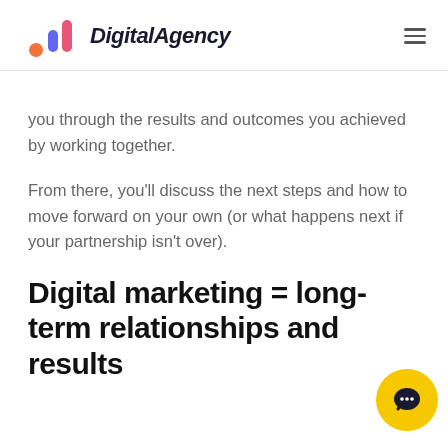DigitalAgency
you through the results and outcomes you achieved by working together.
From there, you'll discuss the next steps and how to move forward on your own (or what happens next if your partnership isn't over).
Digital marketing = long-term relationships and results